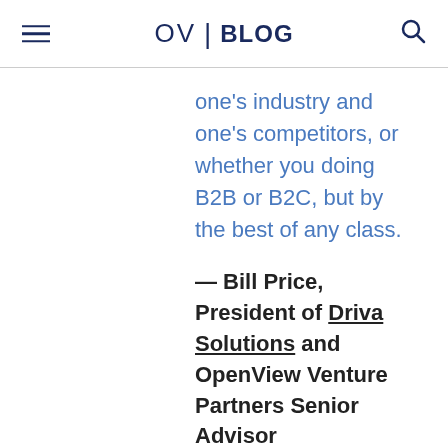OV | BLOG
one’s industry and one’s competitors, or whether you doing B2B or B2C, but by the best of any class.
— Bill Price, President of Driva Solutions and OpenView Venture Partners Senior Advisor